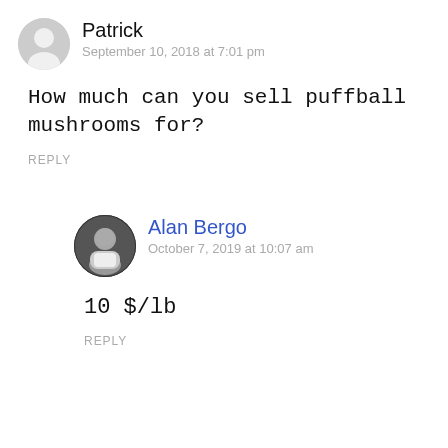Patrick
September 10, 2018 at 7:01 pm
How much can you sell puffball mushrooms for?
REPLY
Alan Bergo
October 7, 2019 at 10:07 am
10 $/lb
REPLY